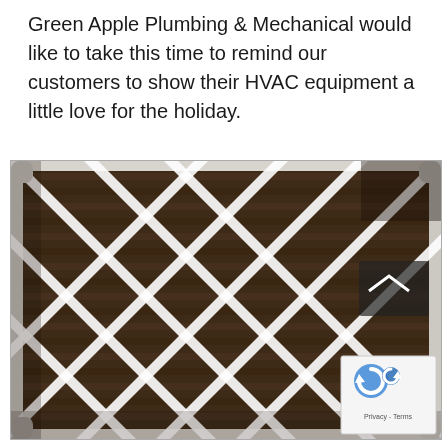Green Apple Plumbing & Mechanical would like to take this time to remind our customers to show their HVAC equipment a little love for the holiday.
[Figure (photo): A heavily soiled/dirty HVAC air filter with a white diamond-pattern grid frame, showing dark brown/grey dust accumulation across the entire filter surface. A small reCAPTCHA widget with Privacy and Terms links is overlaid in the bottom-right corner of the photo.]